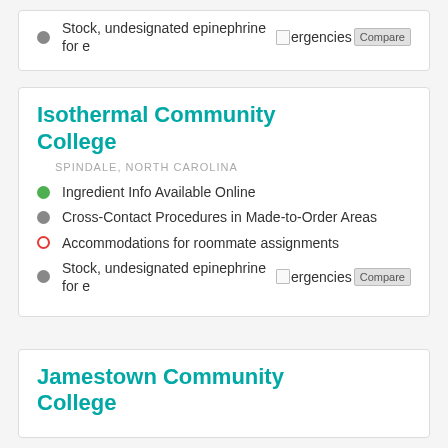Stock, undesignated epinephrine for emergencies
Isothermal Community College
SPINDALE, NORTH CAROLINA
Ingredient Info Available Online
Cross-Contact Procedures in Made-to-Order Areas
Accommodations for roommate assignments
Stock, undesignated epinephrine for emergencies
Jamestown Community College